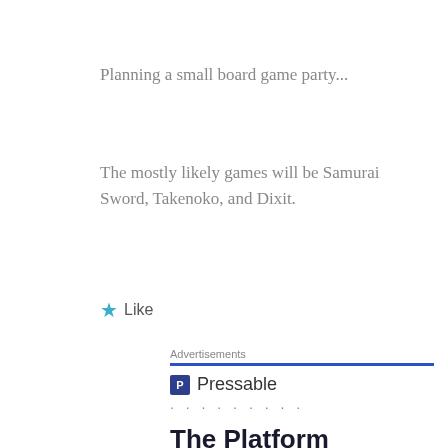Planning a small board game party...
The mostly likely games will be Samurai Sword, Takenoko, and Dixit.
★ Like
Advertisements
[Figure (illustration): Pressable advertisement. Shows Pressable logo (blue P icon with 'Pressable' text), dots separator, headline text 'The Platform Where WordPress Works Best' with 'WordPress' and 'Best' in blue, and a 'SEE PRICING' button.]